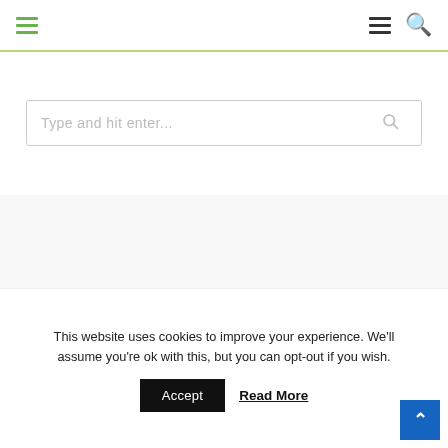Navigation header with hamburger menu (green), hamburger menu (black), and search icon (green)
[Figure (screenshot): Search box with placeholder text 'Type and hit enter...' and a search icon on the right]
[Figure (photo): Photo of Nigerian Naira banknotes (500 and 1000 denominations) fanned out on a white background]
This website uses cookies to improve your experience. We'll assume you're ok with this, but you can opt-out if you wish.
Accept  Read More